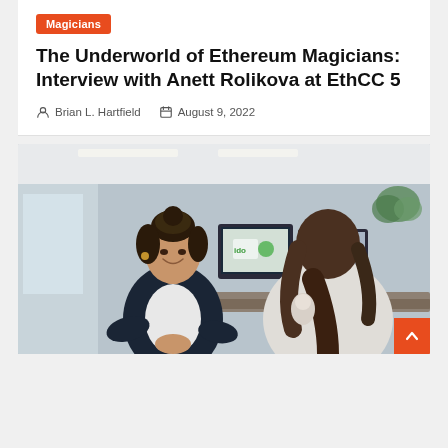Magicians
The Underworld of Ethereum Magicians: Interview with Anett Rolikova at EthCC 5
Brian L. Hartfield   August 9, 2022
[Figure (photo): Two women in a professional office setting having a conversation. One woman with curly hair in a bun wearing a dark blazer is smiling and looking across a desk at another woman with long brown hair seen from behind wearing a light sweater. Computer monitors are visible in the background.]